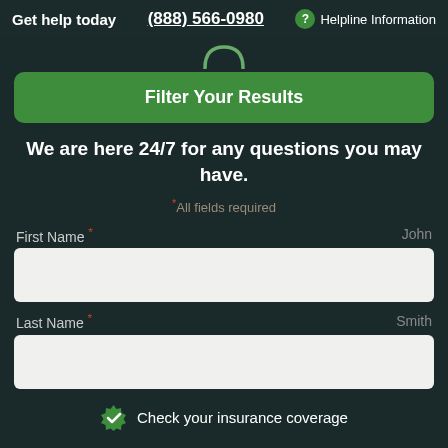Get help today   (888) 566-0980   ? Helpline Information
[Figure (logo): Partial arc logo icon at top center]
Filter Your Results
We are here 24/7 for any questions you may have.
*All fields required
First Name *   John
Last Name *   Smith
Check your insurance coverage